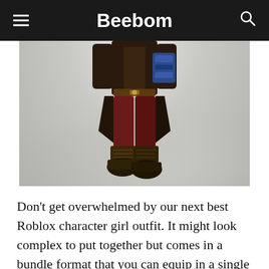Beebom
[Figure (illustration): A Roblox character dressed in a pirate queen outfit, showing the lower body with dark red pants, a long dark coat, and dark boots, set against a misty/foggy light grey background.]
Don’t get overwhelmed by our next best Roblox character girl outfit. It might look complex to put together but comes in a bundle format that you can equip in a single click. The pirate queen adorns an almost royal outfit with a long coat studded with a gem and a hat that is nothing less than a crown. The rest of the outfit reflects power as well as a sense of adventure. So, if you plan to take over the world of